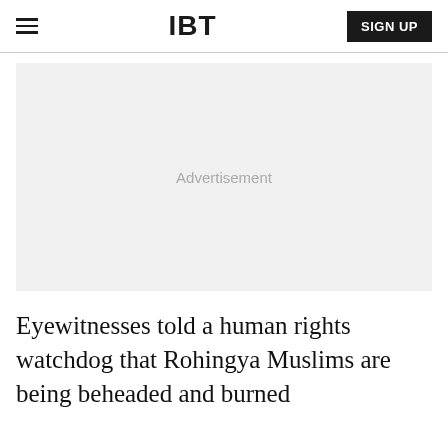IBT | SIGN UP
[Figure (other): Advertisement placeholder block with light gray background and 'Advertisement' label in gray text]
Eyewitnesses told a human rights watchdog that Rohingya Muslims are being beheaded and burned